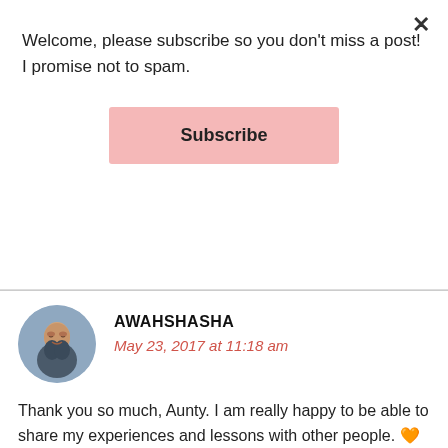Welcome, please subscribe so you don't miss a post! I promise not to spam.
Subscribe
AWAHSHASHA
May 23, 2017 at 11:18 am
Thank you so much, Aunty. I am really happy to be able to share my experiences and lessons with other people. 🧡
★ Like
REPLY
DRAGON